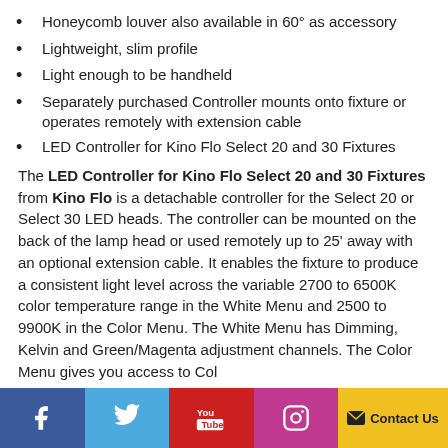Honeycomb louver also available in 60° as accessory
Lightweight, slim profile
Light enough to be handheld
Separately purchased Controller mounts onto fixture or operates remotely with extension cable
LED Controller for Kino Flo Select 20 and 30 Fixtures
The LED Controller for Kino Flo Select 20 and 30 Fixtures from Kino Flo is a detachable controller for the Select 20 or Select 30 LED heads. The controller can be mounted on the back of the lamp head or used remotely up to 25' away with an optional extension cable. It enables the fixture to produce a consistent light level across the variable 2700 to 6500K color temperature range in the White Menu and 2500 to 9900K in the Color Menu. The White Menu has Dimming, Kelvin and Green/Magenta adjustment channels. The Color Menu gives you access to Col
Social media and Contact Us bar